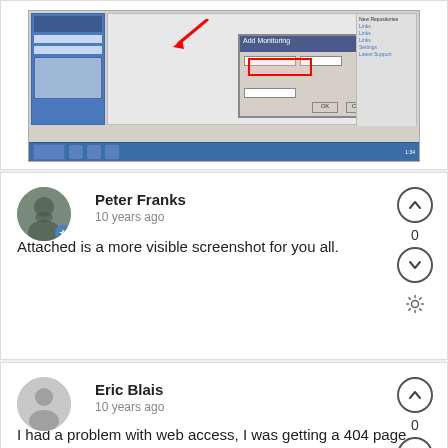[Figure (screenshot): A screenshot of a Windows desktop/application with a dialog box open and a red arrow or highlight visible]
Peter Franks
10 years ago
Attached is a more visible screenshot for you all.
Eric Blais
10 years ago
I had a problem with web access, I was getting a 404 page. The problem was that my IIS Site was not binded to * : 80 or * : your port. Hope this help